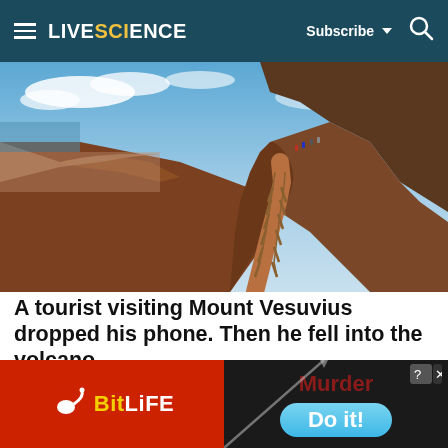LIVESCIENCE  Subscribe  🔍
[Figure (photo): Panoramic photo of the trail along the rim of Mount Vesuvius crater, with reddish-brown volcanic slopes, wooden railing fences along the path, hikers visible in the distance, and the city of Naples and sea visible far below under a blue sky with clouds.]
A tourist visiting Mount Vesuvius dropped his phone. Then he fell into the volcano.
A tourist trying to retrieve a lost phone fell into Mount Vesuvius on Saturday and was rescued.
[Figure (other): Advertisement banner: left side shows BitLife app logo (red background with white sperm-like icon and yellow/white 'BitLife' text); right side shows dark background with red 'Murder' text, a diagonal white arrow/line, a blue pill-shaped 'Do it!' button, and a close button with question mark icon in top right corner.]